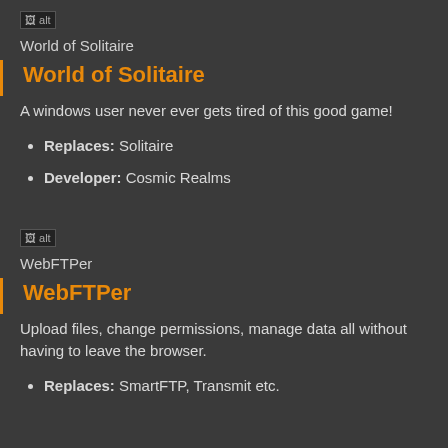[Figure (illustration): Broken image placeholder with alt text for World of Solitaire icon]
World of Solitaire
World of Solitaire
A windows user never ever gets tired of this good game!
Replaces: Solitaire
Developer: Cosmic Realms
[Figure (illustration): Broken image placeholder with alt text for WebFTPer icon]
WebFTPer
WebFTPer
Upload files, change permissions, manage data all without having to leave the browser.
Replaces: SmartFTP, Transmit etc.